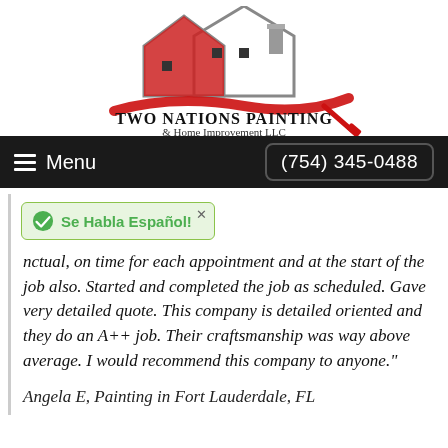[Figure (logo): Two Nations Painting & Home Improvement LLC logo with house rooftop graphic in red and grey, and a red paint brush stroke, company name in bold serif font below]
Menu   (754) 345-0488
Se Habla Español!  ...nctual, on time for each appointment and at the start of the job also. Started and completed the job as scheduled. Gave very detailed quote. This company is detailed oriented and they do an A++ job. Their craftsmanship was way above average. I would recommend this company to anyone."
Angela E, Painting in Fort Lauderdale, FL